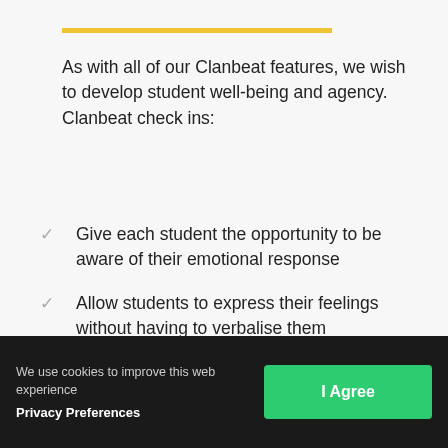As with all of our Clanbeat features, we wish to develop student well-being and agency. Clanbeat check ins:
Give each student the opportunity to be aware of their emotional response
Allow students to express their feelings without having to verbalise them
Reaffirm that the school is there to support their emotional well-being
The questions stimulate students to reflect on their experience.
We use cookies to improve this web experience
Privacy Preferences
I Agree